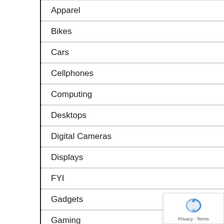Apparel
Bikes
Cars
Cellphones
Computing
Desktops
Digital Cameras
Displays
FYI
Gadgets
Gaming
Gear
GPS
Handhelds